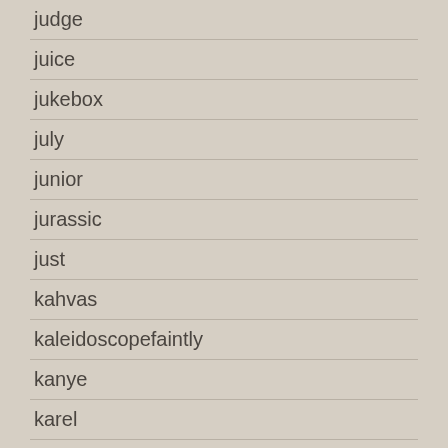judge
juice
jukebox
july
junior
jurassic
just
kahvas
kaleidoscopefaintly
kanye
karel
kate
katy
kendra
kendrick
keni